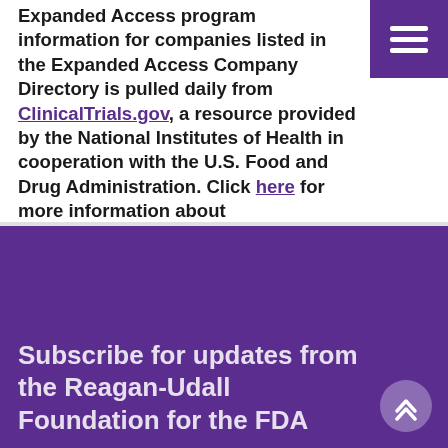Expanded Access program information for companies listed in the Expanded Access Company Directory is pulled daily from ClinicalTrials.gov, a resource provided by the National Institutes of Health in cooperation with the U.S. Food and Drug Administration. Click here for more information about ClinicalTrials.gov.
Subscribe for updates from the Reagan-Udall Foundation for the FDA